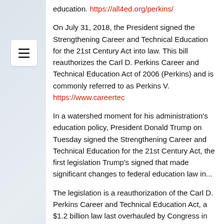education. https://all4ed.org/perkins/
On July 31, 2018, the President signed the Strengthening Career and Technical Education for the 21st Century Act into law. This bill reauthorizes the Carl D. Perkins Career and Technical Education Act of 2006 (Perkins) and is commonly referred to as Perkins V. https://www.careertec...
In a watershed moment for his administration's education policy, President Donald Trump on Tuesday signed the Strengthening Career and Technical Education for the 21st Century Act, the first legislation Trump's signed that made significant changes to federal education law in...
The legislation is a reauthorization of the Carl D. Perkins Career and Technical Education Act, a $1.2 billion law last overhauled by Congress in 2006. The new law allows states to set their own goals for career and technical education programs without the education sec...